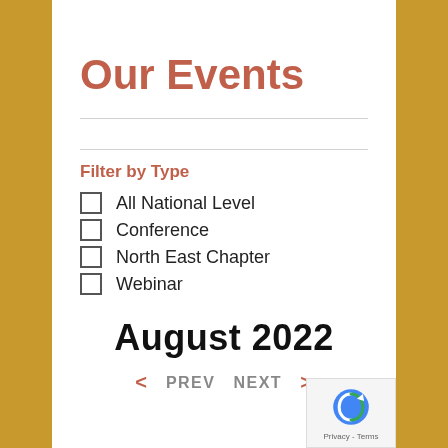Our Events
Filter by Type
All National Level
Conference
North East Chapter
Webinar
August 2022
< PREV   NEXT >